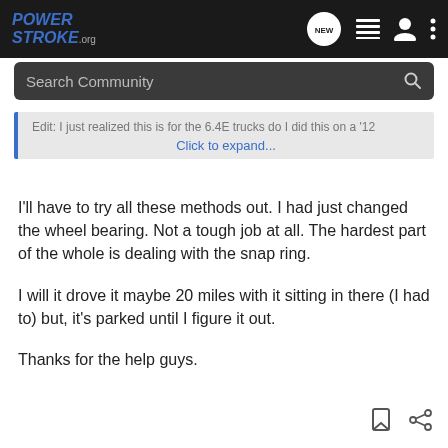[Figure (screenshot): PowerStroke.org website navigation bar with logo, NEW chat icon, list icon, user icon, and more options icon]
[Figure (screenshot): Search Community search bar with magnifying glass icon on dark background]
Edit: I just realized this is for the 6.4E trucks do I did this on a '12 Click to expand...
I'll have to try all these methods out. I had just changed the wheel bearing. Not a tough job at all. The hardest part of the whole is dealing with the snap ring.
I will it drove it maybe 20 miles with it sitting in there (I had to) but, it's parked until I figure it out.
Thanks for the help guys.